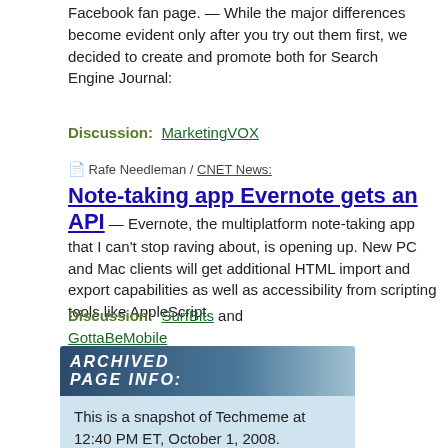Facebook fan page.  —  While the major differences become evident only after you try out them first, we decided to create and promote both for Search Engine Journal:
Discussion:  MarketingVOX
📄 Rafe Needleman / CNET News:
Note-taking app Evernote gets an API  —  Evernote, the multiplatform note-taking app that I can't stop raving about, is opening up. New PC and Mac clients will get additional HTML import and export capabilities as well as accessibility from scripting tools like AppleScript.
Discussion:  SurfBits and GottaBeMobile
[Figure (other): Archived Page Info banner with dark blue gradient header reading 'ARCHIVED PAGE INFO:' and light blue body text: 'This is a snapshot of Techmeme at 12:40 PM ET, October 1, 2008. View the current']